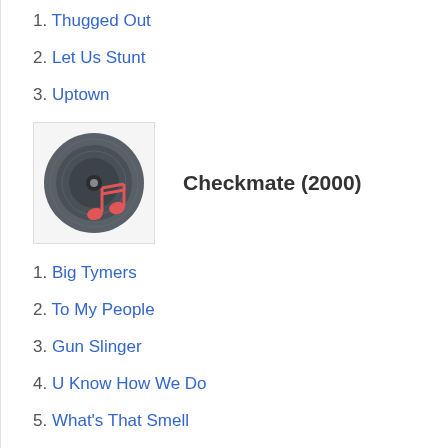1. Thugged Out
2. Let Us Stunt
3. Uptown
[Figure (illustration): Music album icon: vinyl record with a red musical note overlay]
Checkmate (2000)
1. Big Tymers
2. To My People
3. Gun Slinger
4. U Know How We Do
5. What's That Smell
6. This N***a Die
7. Change the World
8. Hennessy & XTC
9. Press One